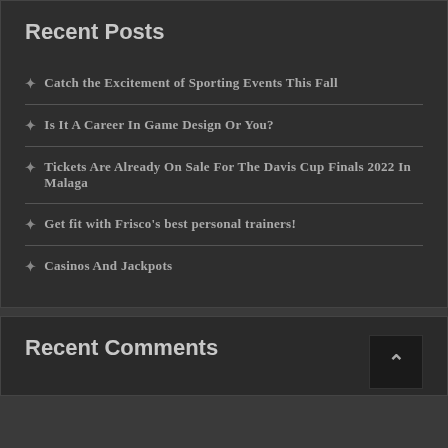Recent Posts
Catch the Excitement of Sporting Events This Fall
Is It A Career In Game Design Or You?
Tickets Are Already On Sale For The Davis Cup Finals 2022 In Malaga
Get fit with Frisco's best personal trainers!
Casinos And Jackpots
Recent Comments